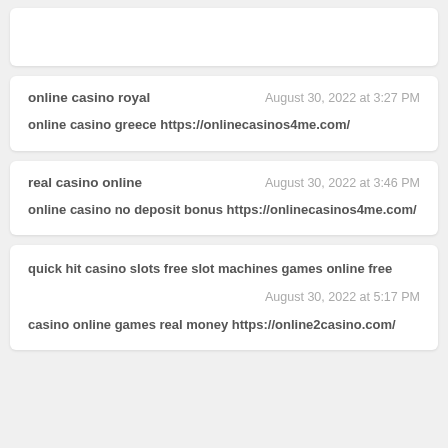(partial card top)
online casino royal | August 30, 2022 at 3:27 PM
online casino greece https://onlinecasinos4me.com/
real casino online | August 30, 2022 at 3:46 PM
online casino no deposit bonus https://onlinecasinos4me.com/
quick hit casino slots free slot machines games online free | August 30, 2022 at 5:17 PM
casino online games real money https://online2casino.com/